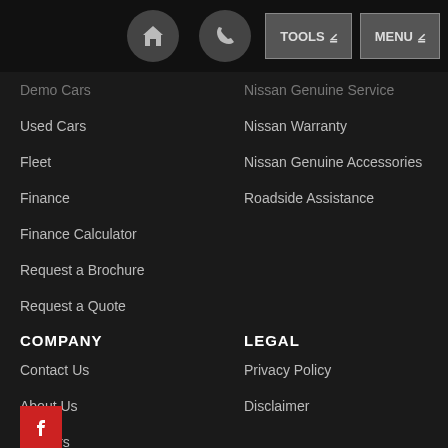Home | Phone | TOOLS | MENU
Demo Cars
Nissan Genuine Service
Used Cars
Nissan Warranty
Fleet
Nissan Genuine Accessories
Finance
Roadside Assistance
Finance Calculator
Request a Brochure
Request a Quote
COMPANY
LEGAL
Contact Us
Privacy Policy
About Us
Disclaimer
Careers
Pre-Order Offer